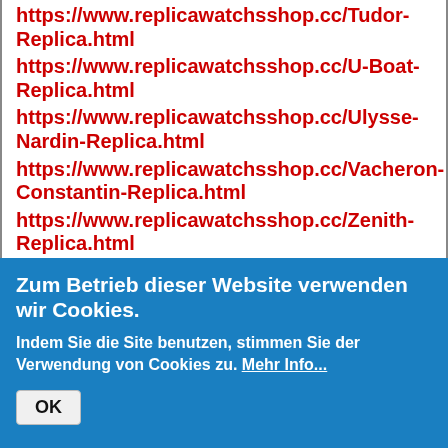https://www.replicawatchsshop.cc/Tudor-Replica.html
https://www.replicawatchsshop.cc/U-Boat-Replica.html
https://www.replicawatchsshop.cc/Ulysse-Nardin-Replica.html
https://www.replicawatchsshop.cc/Vacheron-Constantin-Replica.html
https://www.replicawatchsshop.cc/Zenith-Replica.html
https://www.allshopwatch.com/A.-Lange-Sohne-a-hot.html
https://www.allshopwatch.com/Audemars-
Zum Betrieb dieser Website verwenden wir Cookies.
Indem Sie die Site benutzen, stimmen Sie der Verwendung von Cookies zu. Mehr Info...
OK